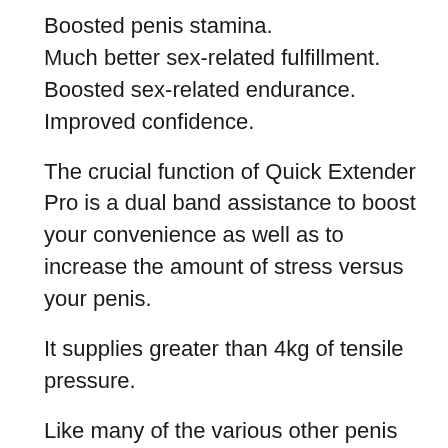Boosted penis stamina.
Much better sex-related fulfillment.
Boosted sex-related endurance.
Improved confidence.
The crucial function of Quick Extender Pro is a dual band assistance to boost your convenience as well as to increase the amount of stress versus your penis.
It supplies greater than 4kg of tensile pressure.
Like many of the various other penis extenders we've considered, Quick Extender Pro may also serve for correcting your penis if you have a curvature.
Quick Extender Pro Rate